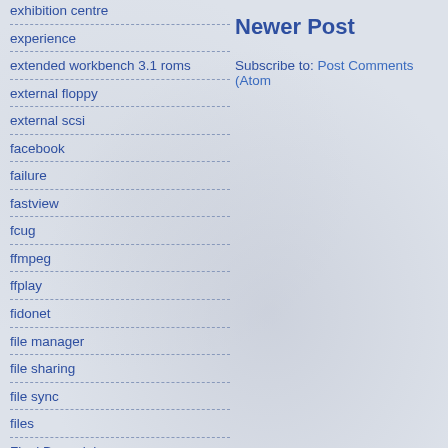exhibition centre
experience
extended workbench 3.1 roms
external floppy
external scsi
facebook
failure
fastview
fcug
ffmpeg
ffplay
fidonet
file manager
file sharing
file sync
files
Final Burn alpha
final copy
Newer Post
Subscribe to: Post Comments (Atom)